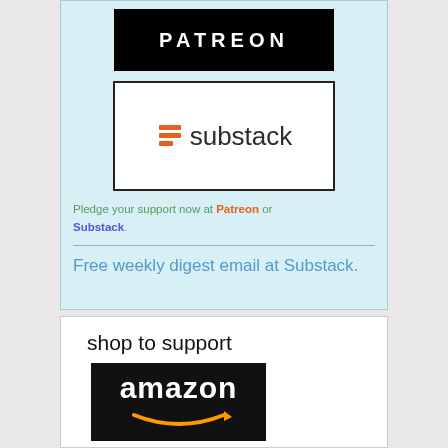[Figure (logo): Patreon logo — white bold PATREON text on black background]
[Figure (logo): Substack logo — orange stacked-lines icon with 'substack' wordmark on white background with black border]
Pledge your support now at Patreon or Substack.
Free weekly digest email at Substack.
shop to support
[Figure (logo): Amazon logo — white 'amazon' text with orange smile arrow on black background]